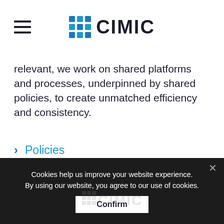CIMIC
relevant, we work on shared platforms and processes, underpinned by shared policies, to create unmatched efficiency and consistency.
Policies
Sustainability
Cookies help us improve your website experience. By using our website, you agree to our use of cookies.